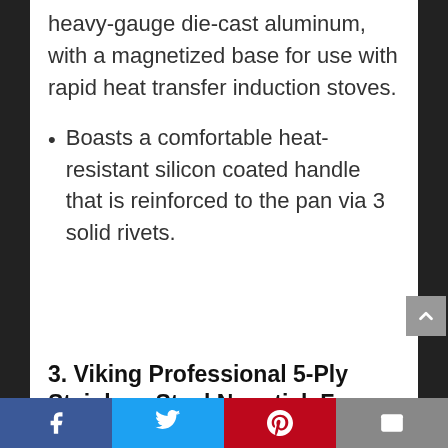heavy-gauge die-cast aluminum, with a magnetized base for use with rapid heat transfer induction stoves.
Boasts a comfortable heat-resistant silicon coated handle that is reinforced to the pan via 3 solid rivets.
3. Viking Professional 5-Ply Stainless Steel Nonstick Fry Pan, 12 Inch